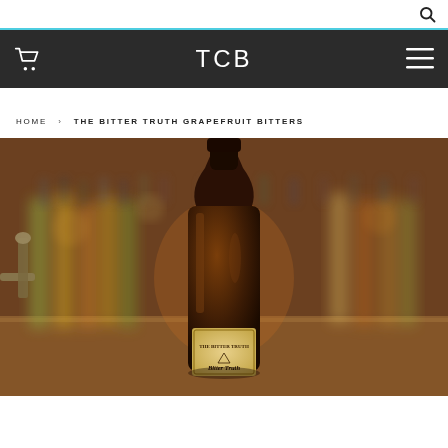Search bar with search icon
TCB
HOME › THE BITTER TRUTH GRAPEFRUIT BITTERS
[Figure (photo): A dark amber bottle of The Bitter Truth Grapefruit Bitters in the foreground, with rows of liquor bottles blurred in the background on a wooden bar surface.]